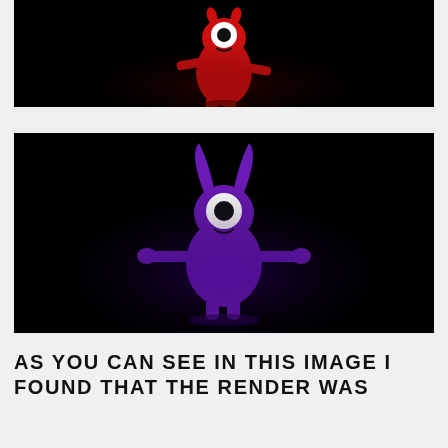[Figure (illustration): 3D rendered red cartoon monster character with one large white eye, standing on a black background with a slight reflection. The character has a rounded body, small horns, and outstretched arms.]
[Figure (illustration): 3D rendered purple cartoon monster character with one large white eye, two horn-like protrusions on top, and outstretched arms, standing on a black background with a reflection below.]
AS YOU CAN SEE IN THIS IMAGE I FOUND THAT THE RENDER WAS